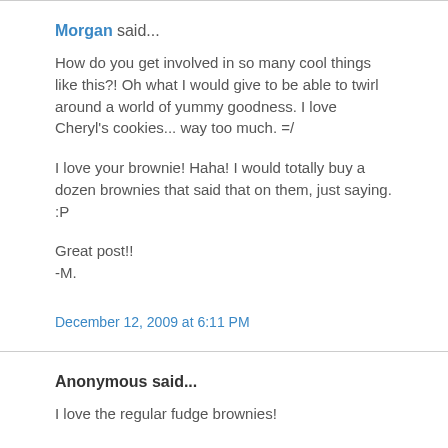Morgan said...
How do you get involved in so many cool things like this?! Oh what I would give to be able to twirl around a world of yummy goodness. I love Cheryl's cookies... way too much. =/
I love your brownie! Haha! I would totally buy a dozen brownies that said that on them, just saying. :P
Great post!!
-M.
December 12, 2009 at 6:11 PM
Anonymous said...
I love the regular fudge brownies!
Deborah
comfortjoydesigns AT gmail DOT com